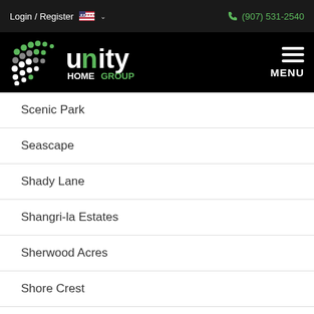Login / Register   (907) 531-2540
[Figure (logo): Unity Home Group logo with green and grey dot pattern on black background]
Scenic Park
Seascape
Shady Lane
Shangri-la Estates
Sherwood Acres
Shore Crest
Silvertree
Sky Hills